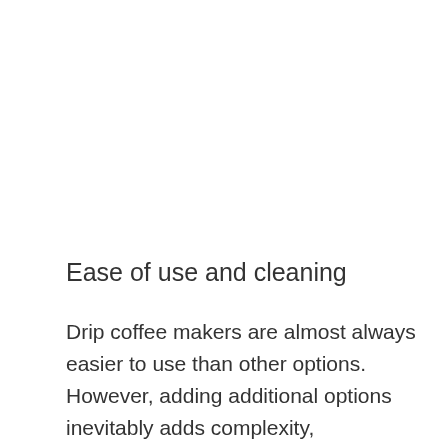Ease of use and cleaning
Drip coffee makers are almost always easier to use than other options. However, adding additional options inevitably adds complexity,
[Figure (screenshot): Advertisement banner for PUMA Labor Day Weekend Sale showing two people in outdoor setting with text 'LABOR DAY WEEKEND SALE 30% OFF PUMA'. Top bar shows 'PUMA Labor Day Sal' with play and close icons.]
Ad